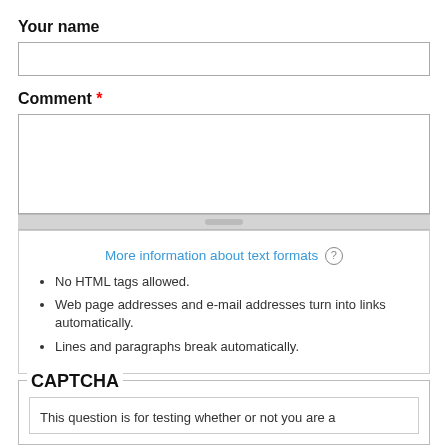Your name
[Figure (screenshot): Empty text input field for 'Your name']
Comment *
[Figure (screenshot): Large textarea input for 'Comment']
More information about text formats
No HTML tags allowed.
Web page addresses and e-mail addresses turn into links automatically.
Lines and paragraphs break automatically.
CAPTCHA
This question is for testing whether or not you are a